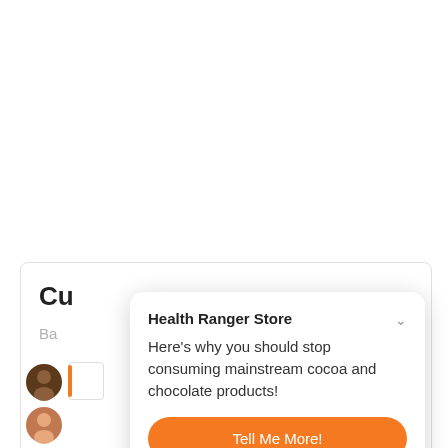[Figure (screenshot): Screenshot of a web page showing a push notification popup from Health Ranger Store with two orange CTA buttons, overlaid on a partially visible web page with customer reviews section.]
Health Ranger Store
Here's why you should stop consuming mainstream cocoa and chocolate products!
Tell Me More!
Maybe later.